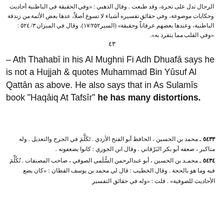الرجال تدل على تجرة، وقد طبعت . وقال الذهبي : «وفي الحقيقة في الباطنية أحاديث وحكايات موضوعة، وفي حقائق تفسيره أشياء لا تسوغ أصلاً، عدها بعض الأئمة من زندقة الباطنية، وعندها بعضهم عرفاناً وحقيقة» (السير١٧/٢٥٢). وقال في الميزان ٣/ ٥٢٤ : «وفي القلب مما يتفرد به».
٤٣
– Ath Thahabī in his Al Mughni Fi Adh Dhuafā says he is not a Hujjah & quotes Muhammad Bin Yūsuf Al Qattān as above. He also says that in As Sulamīs book "Haqāiq At Tafsīr" he has many distortions.
٥٤٣٣ ـ محمد بن الحسين ، الحافظ أبو الفتح الأزدي . تَكَلَّمَ في الجرح والتعديل . وله مناكير ، ضعفه أبو بكر البَرْقاني . وقال ابن الجوزي : كانوا يضعفونه .
٥٤٣٤ ـ محمد بن الحسين ، أبو عبدالرحمن السُّلَمي الصوفي ، صاحب المصنفات . تُكُلِّمَ فيه وما هو بالحجة . وقال الخطيب : قال لي محمد بن يوسف القطان : «كان يضع الأحاديث للصوفية» . قلت : «وله في حقائق التفسير